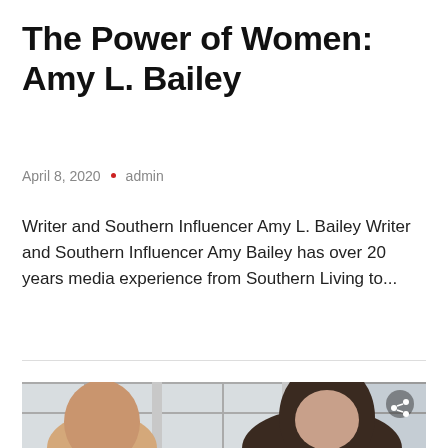The Power of Women: Amy L. Bailey
April 8, 2020  •  admin
Writer and Southern Influencer Amy L. Bailey Writer and Southern Influencer Amy Bailey has over 20 years media experience from Southern Living to...
[Figure (photo): Two women posing indoors near large gridded windows; photo partially visible at bottom of page]